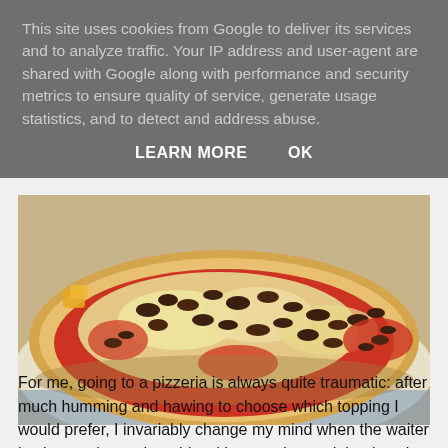This site uses cookies from Google to deliver its services and to analyze traffic. Your IP address and user-agent are shared with Google along with performance and security metrics to ensure quality of service, generate usage statistics, and to detect and address abuse.
LEARN MORE   OK
[Figure (photo): Close-up photo of a pizza with melted cheese, ground meat, and red tomato sauce on a thick crust, served on a decorative plate with blue pattern border.]
For me, going to a pizzeria is always quite traumatic: after much humming and hawing to choose which topping I would prefer, I invariably change my mind when the waiter is about to leave the table with my order; and that is only picking the